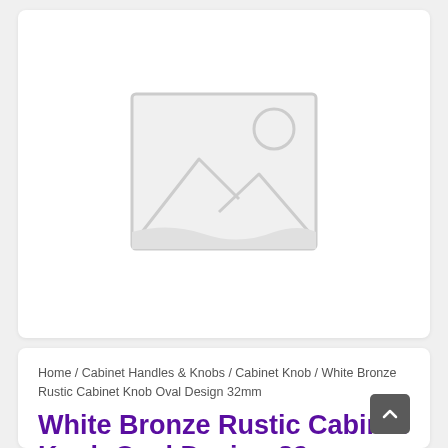[Figure (illustration): Placeholder image icon showing a landscape/photo placeholder with mountain and sun outline in light grey on white background]
Home / Cabinet Handles & Knobs / Cabinet Knob / White Bronze Rustic Cabinet Knob Oval Design 32mm
White Bronze Rustic Cabinet Knob Oval Design 32mm